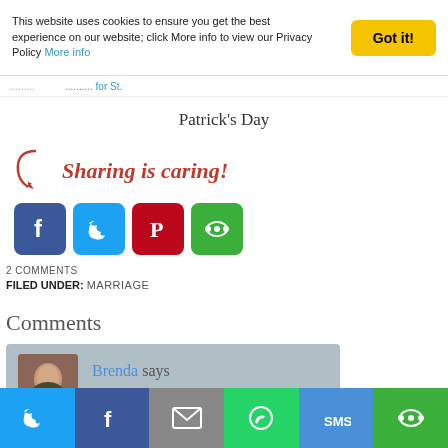This website uses cookies to ensure you get the best experience on our website; click More info to view our Privacy Policy More info
Patrick's Day
[Figure (infographic): Sharing is caring! with arrow and social media icons: Facebook, Twitter, Pinterest, and a green share icon]
2 COMMENTS
FILED UNDER: MARRIAGE
Comments
Brenda says
November 18, 2015 at 4:09 pm
Thanks for sharing this. I'm glad you
[Figure (infographic): Bottom share bar with Twitter, Facebook, Email, WhatsApp, SMS, and a green share icon buttons]